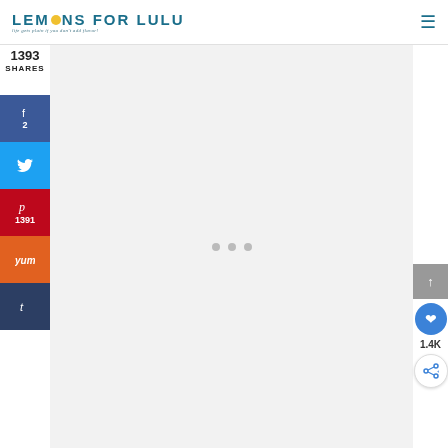LEMONS FOR LULU — life gets plain if you don't add flavor!
1393 SHARES
[Figure (screenshot): Social share sidebar with Facebook (2), Twitter, Pinterest (1391), Yummly, and Tumblr buttons]
[Figure (screenshot): Main content area with light gray background and three loading dots in the center]
[Figure (screenshot): Right side widgets: scroll-to-top button (gray), heart/like button (blue circle), 1.4K count, share button (circle)]